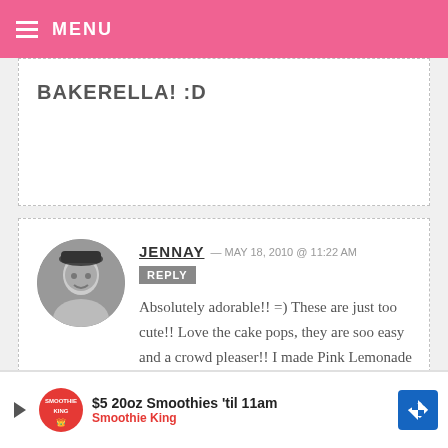MENU
BAKERELLA! :D
Absolutely adorable!! =) These are just too cute!! Love the cake pops, they are soo easy and a crowd pleaser!! I made Pink Lemonade Cake balls for work and they disappeared fast!
[Figure (photo): Circular avatar photo of Jennay, black and white portrait of a woman smiling]
JENNAY — MAY 18, 2010 @ 11:22 AM  REPLY
[Figure (infographic): Advertisement banner: $5 20oz Smoothies til 11am Smoothie King with play button, logo and arrow icon]